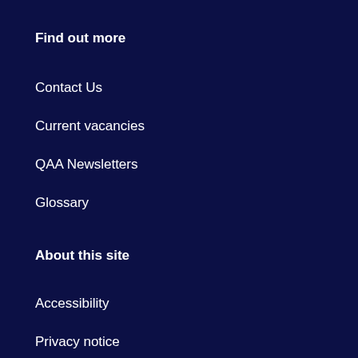Find out more
Contact Us
Current vacancies
QAA Newsletters
Glossary
About this site
Accessibility
Privacy notice
Our other websites
QAA Membership Resources
QAA Scotland
Enhancement Themes